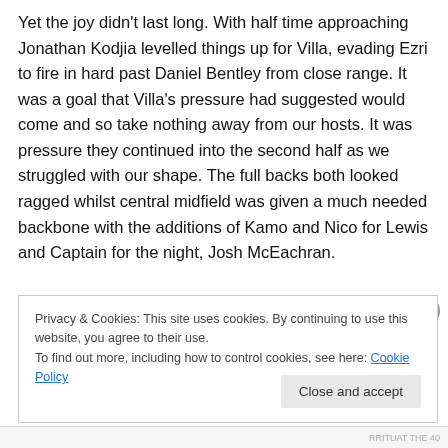Yet the joy didn't last long. With half time approaching Jonathan Kodjia levelled things up for Villa, evading Ezri to fire in hard past Daniel Bentley from close range. It was a goal that Villa's pressure had suggested would come and so take nothing away from our hosts. It was pressure they continued into the second half as we struggled with our shape. The full backs both looked ragged whilst central midfield was given a much needed backbone with the additions of Kamo and Nico for Lewis and Captain for the night, Josh McEachran.
Privacy & Cookies: This site uses cookies. By continuing to use this website, you agree to their use.
To find out more, including how to control cookies, see here: Cookie Policy
Close and accept
RRITUAT THE 40